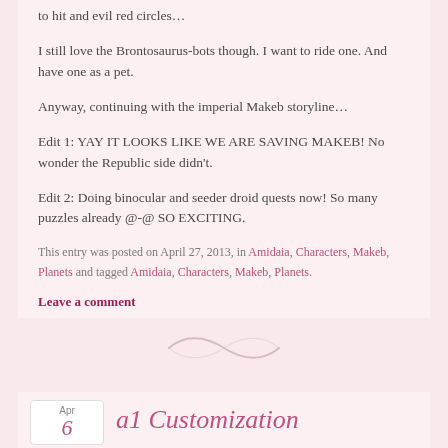to hit and evil red circles…
I still love the Brontosaurus-bots though. I want to ride one. And have one as a pet.
Anyway, continuing with the imperial Makeb storyline…
Edit 1: YAY IT LOOKS LIKE WE ARE SAVING MAKEB! No wonder the Republic side didn't.
Edit 2: Doing binocular and seeder droid quests now! So many puzzles already @-@ SO EXCITING.
This entry was posted on April 27, 2013, in Amidaia, Characters, Makeb, Planets and tagged Amidaia, Characters, Makeb, Planets.
Leave a comment
[Figure (illustration): Decorative swirl/flourish divider]
Apr 6 a1 Customization